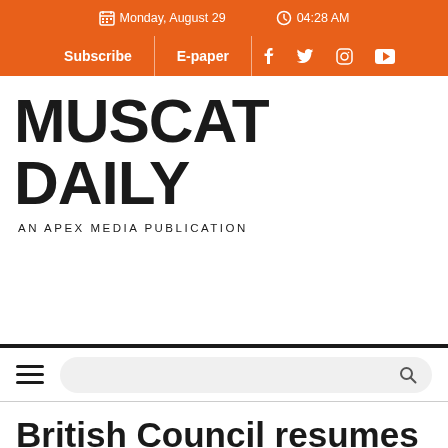Monday, August 29  04:28 AM
Subscribe  E-paper
MUSCAT DAILY
AN APEX MEDIA PUBLICATION
British Council resumes